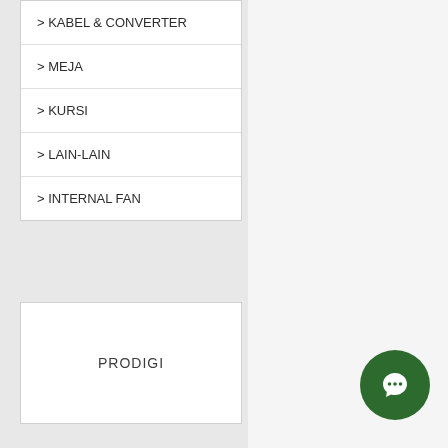> KABEL & CONVERTER
> MEJA
> KURSI
> LAIN-LAIN
> INTERNAL FAN
PRODIGI
UPS CyberPower Value 800E
UPS CyberPower PR1000 EL
[Figure (other): Green circular chat/messenger button icon]